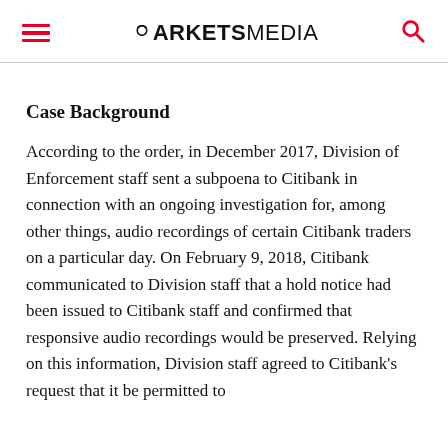MARKETS MEDIA
Case Background
According to the order, in December 2017, Division of Enforcement staff sent a subpoena to Citibank in connection with an ongoing investigation for, among other things, audio recordings of certain Citibank traders on a particular day. On February 9, 2018, Citibank communicated to Division staff that a hold notice had been issued to Citibank staff and confirmed that responsive audio recordings would be preserved. Relying on this information, Division staff agreed to Citibank's request that it be permitted to